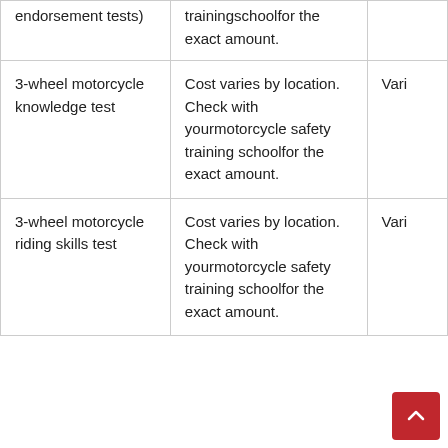| endorsement tests) | trainingschoolfor the exact amount. |  |
| 3-wheel motorcycle knowledge test | Cost varies by location. Check with yourmotorcycle safety training schoolfor the exact amount. | Vari |
| 3-wheel motorcycle riding skills test | Cost varies by location. Check with yourmotorcycle safety training schoolfor the | Vari |